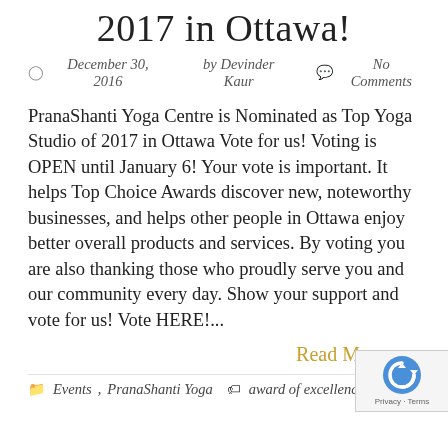2017 in Ottawa!
December 30, 2016   by Devinder Kaur   No Comments
PranaShanti Yoga Centre is Nominated as Top Yoga Studio of 2017 in Ottawa Vote for us! Voting is OPEN until January 6! Your vote is important. It helps Top Choice Awards discover new, noteworthy businesses, and helps other people in Ottawa enjoy better overall products and services. By voting you are also thanking those who proudly serve you and our community every day. Show your support and vote for us! Vote HERE!...
Read M
Events, PranaShanti Yoga   award of excellence, Ott...